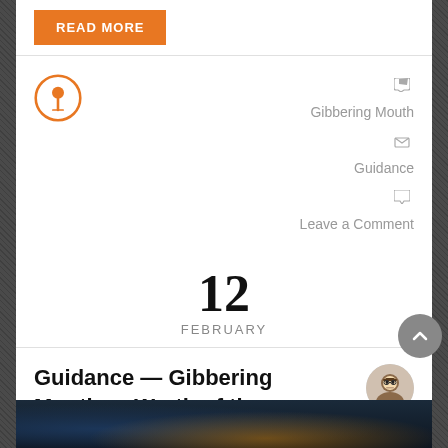READ MORE
Gibbering Mouth
Guidance
Leave a Comment
12
FEBRUARY
Guidance — Gibbering Mouther: Wrath of the Kitsune, a Tale of Owlcats and Kickstarters
Written by Alex Augunas
[Figure (photo): Dark fantasy image at the bottom of the page showing a night scene with orange glow]